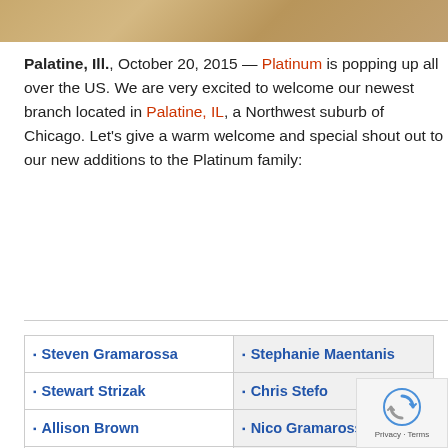[Figure (photo): Partial photo strip showing a blurred background image, brownish-gold tones]
Palatine, Ill., October 20, 2015 — Platinum is popping up all over the US. We are very excited to welcome our newest branch located in Palatine, IL, a Northwest suburb of Chicago. Let's give a warm welcome and special shout out to our new additions to the Platinum family:
◻ Steven Gramarossa
◻ Stephanie Maentanis
◻ Stewart Strizak
◻ Chris Stefo
◻ Allison Brown
◻ Nico Gramarossa
◻ Jill Lombardi